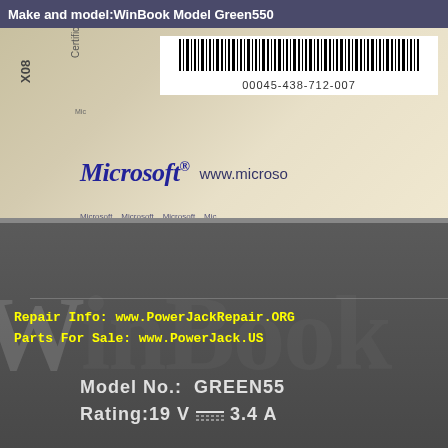Make and model:WinBook Model Green550
[Figure (photo): Close-up photo of a laptop bottom label showing a Microsoft Certificate of Authenticity sticker with barcode number 00045-438-712-007 and a dark WinBook brand label showing Model No.: GREEN550 and Rating: 19V 3.4A. Yellow text overlay reads: Repair Info: www.PowerJackRepair.ORG / Parts For Sale: www.PowerJack.US]